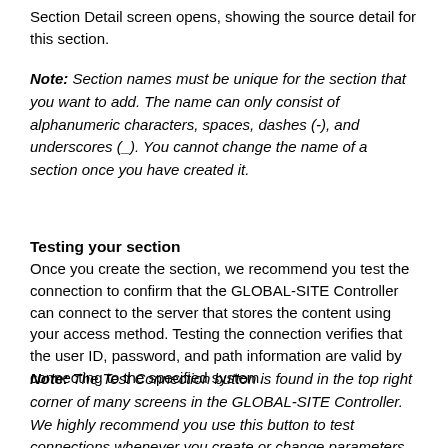Section Detail screen opens, showing the source detail for this section.
Note: Section names must be unique for the section that you want to add. The name can only consist of alphanumeric characters, spaces, dashes (-), and underscores (_). You cannot change the name of a section once you have created it.
Testing your section
Once you create the section, we recommend you test the connection to confirm that the GLOBAL-SITE Controller can connect to the server that stores the content using your access method. Testing the connection verifies that the user ID, password, and path information are valid by connecting to the specified system.
Note: The Test Connection button is found in the top right corner of many screens in the GLOBAL-SITE Controller. We highly recommend you use this button to test connections whenever you create or change parameters that affect connectivity (for example: paths, transfer methods).